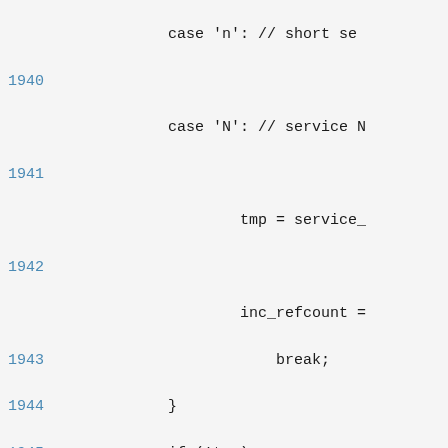Source code listing lines 1940-1952 showing C/C++ switch-case and if-block code